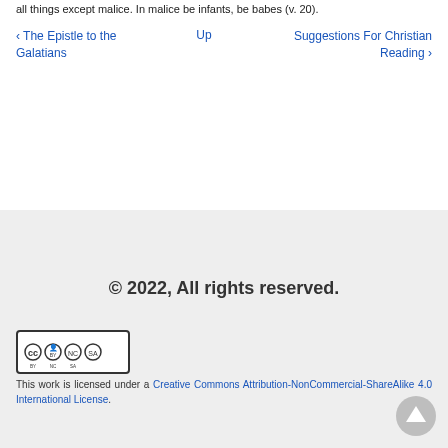all things except malice. In malice be infants, be babes (v. 20).
‹ The Epistle to the Galatians | Up | Suggestions For Christian Reading ›
© 2022, All rights reserved.
This work is licensed under a Creative Commons Attribution-NonCommercial-ShareAlike 4.0 International License.